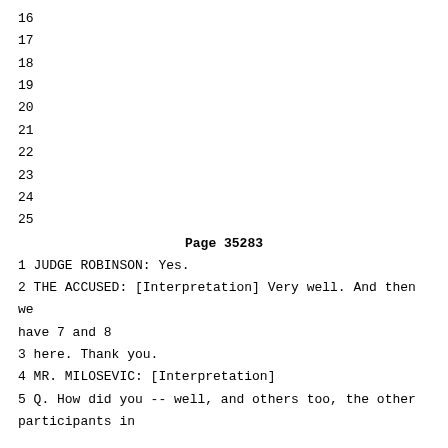16
17
18
19
20
21
22
23
24
25
Page 35283
1 JUDGE ROBINSON: Yes.
2 THE ACCUSED: [Interpretation] Very well. And then we have 7 and 8
3 here. Thank you.
4 MR. MILOSEVIC: [Interpretation]
5 Q. How did you -- well, and others too, the other participants in